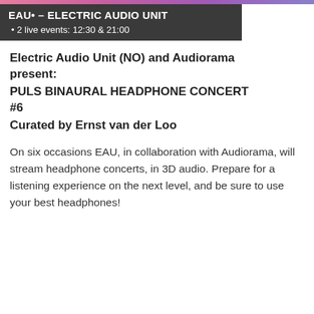EAU• – ELECTRIC AUDIO UNIT
Wednesday, August 25, 2021
2 live events: 12:30 & 21:00
Electric Audio Unit (NO) and Audiorama present:
PULS BINAURAL HEADPHONE CONCERT #6
Curated by Ernst van der Loo
On six occasions EAU, in collaboration with Audiorama, will stream headphone concerts, in 3D audio. Prepare for a listening experience on the next level, and be sure to use your best headphones!